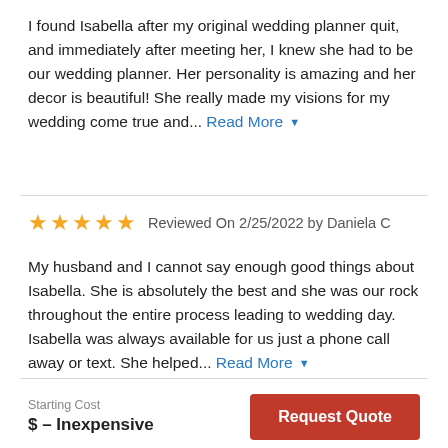I found Isabella after my original wedding planner quit, and immediately after meeting her, I knew she had to be our wedding planner. Her personality is amazing and her decor is beautiful! She really made my visions for my wedding come true and... Read More
★★★★★  Reviewed On 2/25/2022 by Daniela C
My husband and I cannot say enough good things about Isabella. She is absolutely the best and she was our rock throughout the entire process leading to wedding day. Isabella was always available for us just a phone call away or text. She helped... Read More
Starting Cost
$ – Inexpensive
Request Quote